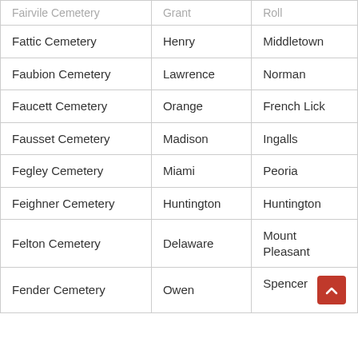| Fairvile Cemetery | Grant | Roll |
| Fattic Cemetery | Henry | Middletown |
| Faubion Cemetery | Lawrence | Norman |
| Faucett Cemetery | Orange | French Lick |
| Fausset Cemetery | Madison | Ingalls |
| Fegley Cemetery | Miami | Peoria |
| Feighner Cemetery | Huntington | Huntington |
| Felton Cemetery | Delaware | Mount Pleasant |
| Fender Cemetery | Owen | Spencer |